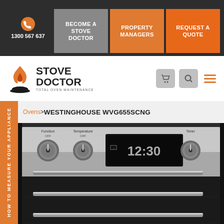1300 567 637 | BECOME A STOVE DOCTOR | PROPERTY MANAGERS | REQUEST A QUOTE
[Figure (logo): Stove Doctor logo with flame icon and tagline TOTAL OVEN MAINTENANCE]
>Ovens>WESTINGHOUSE WVG655SCNG
HOW TO MEASURE YOUR APPLIANCE
[Figure (photo): Westinghouse WVG655SCNG oven product photo showing stainless steel oven with digital display reading 12:30, control knobs, and two oven drawers with handles]